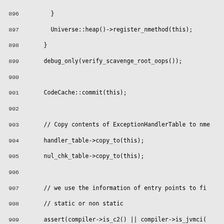Source code listing lines 896-925, showing C++ nmethod implementation code.